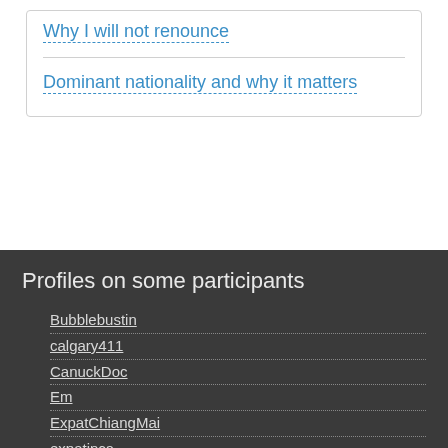Why I will not renounce
Dominant nationality and why it matters
Profiles on some participants
Bubblebustin
calgary411
CanuckDoc
Em
ExpatChiangMai
expatinca
foxyladyhawk
geeeez
Karcan
Jefferson D. Tomas